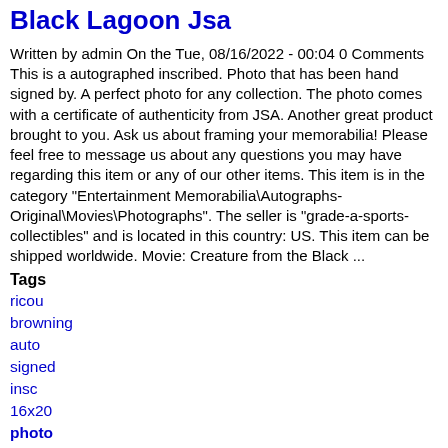Black Lagoon Jsa
Written by admin On the Tue, 08/16/2022 - 00:04 0 Comments
This is a autographed inscribed. Photo that has been hand signed by. A perfect photo for any collection. The photo comes with a certificate of authenticity from JSA. Another great product brought to you. Ask us about framing your memorabilia! Please feel free to message us about any questions you may have regarding this item or any of our other items. This item is in the category "Entertainment Memorabilia\Autographs-Original\Movies\Photographs". The seller is "grade-a-sports-collectibles" and is located in this country: US. This item can be shipped worldwide. Movie: Creature from the Black ...
Tags
ricou
browning
auto
signed
insc
16x20
photo
creature